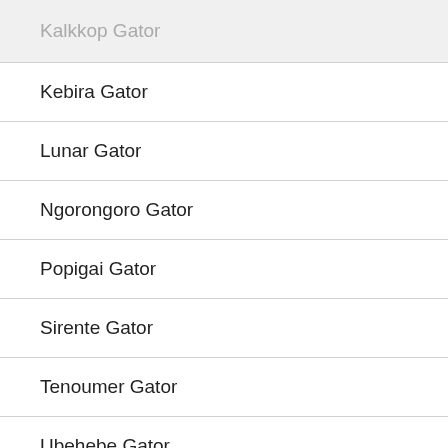Kalkkop Gator
Kebira Gator
Lunar Gator
Ngorongoro Gator
Popigai Gator
Sirente Gator
Tenoumer Gator
Ubehebe Gator
Wilkes Land Gator